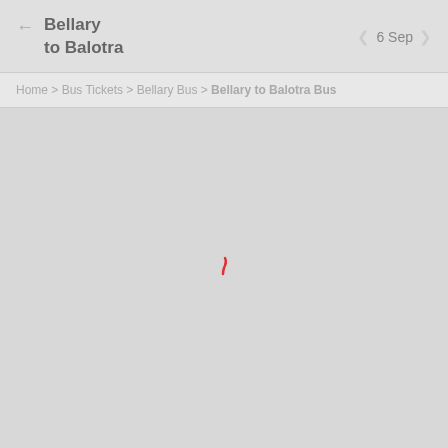Bellary to Balotra | 6 Sep
Home > Bus Tickets > Bellary Bus > Bellary to Balotra Bus
[Figure (screenshot): Loading spinner (small red arc) centered on a light gray background area, indicating page content is loading]